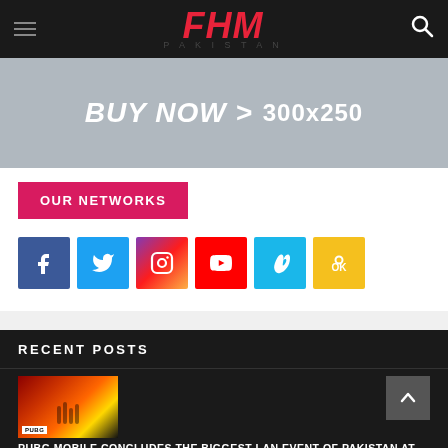FHM PAKISTAN — navigation bar with hamburger menu and search icon
[Figure (screenshot): Advertisement banner with text BUY NOW > 300x250 on grey/dark background]
OUR NETWORKS
[Figure (infographic): Social media icons row: Facebook (blue), Twitter (light blue), Instagram (gradient), YouTube (red), Vimeo (cyan), OK (yellow)]
RECENT POSTS
[Figure (photo): PUBG Mobile LAN event photo showing players and fireworks]
PUBG MOBILE CONCLUDES THE BIGGEST LAN EVENT OF PAKISTAN AT